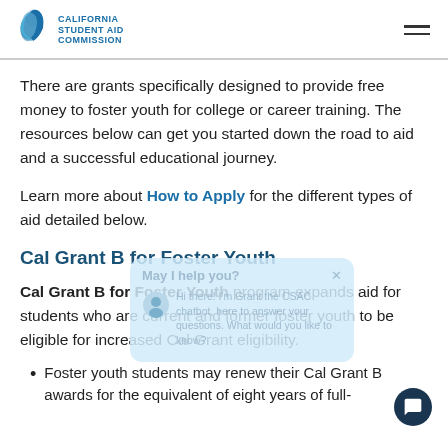California Student Aid Commission
There are grants specifically designed to provide free money to foster youth for college or career training. The resources below can get you started down the road to aid and a successful educational journey.
Learn more about How to Apply for the different types of aid detailed below.
Cal Grant B for Foster Youth
Cal Grant B for Foster Youth program expands aid for students who are current and former foster youth to be eligible for increased Cal Grant eligibility.
Foster youth students may renew their Cal Grant B awards for the equivalent of eight years of full-